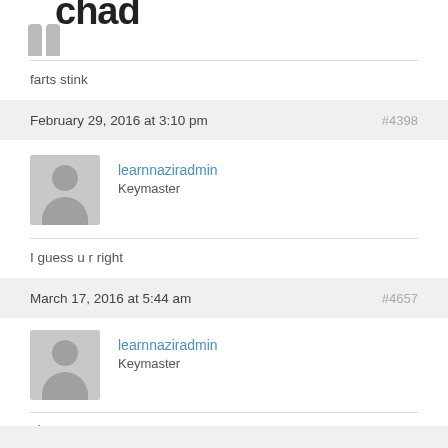[Figure (illustration): Partially visible avatar/logo at top of page, cut off]
farts stink
February 29, 2016 at 3:10 pm  #4398
[Figure (illustration): Grey placeholder avatar for learnnaziradmin]
learnnaziradmin
Keymaster
I guess u r right
March 17, 2016 at 5:44 am  #4657
[Figure (illustration): Grey placeholder avatar for learnnaziradmin]
learnnaziradmin
Keymaster
nice